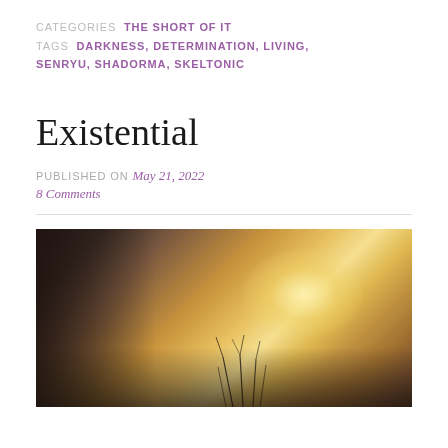CATEGORIES  THE SHORT OF IT
TAGS  DARKNESS, DETERMINATION, LIVING, SENRYU, SHADORMA, SKELTONIC
Existential
PUBLISHED ON May 21, 2022
8 Comments
[Figure (photo): A warm golden-toned atmospheric photo of grass or plant stems silhouetted against a hazy glowing backlight, transitioning from dark shadowy left to bright golden-orange center-right, with dark foreground at the bottom.]